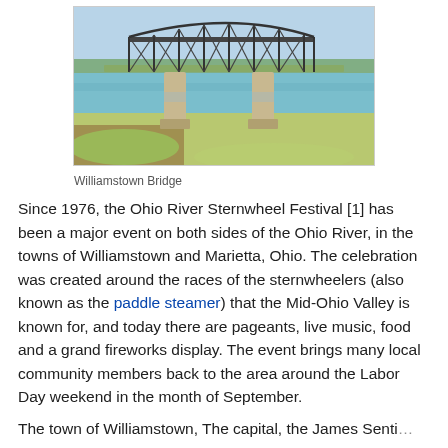[Figure (photo): Photo of Williamstown Bridge, a steel truss bridge over the Ohio River with concrete piers, green metalwork, and grassy riverbank in the foreground.]
Williamstown Bridge
Since 1976, the Ohio River Sternwheel Festival [1] has been a major event on both sides of the Ohio River, in the towns of Williamstown and Marietta, Ohio. The celebration was created around the races of the sternwheelers (also known as the paddle steamer) that the Mid-Ohio Valley is known for, and today there are pageants, live music, food and a grand fireworks display. The event brings many local community members back to the area around the Labor Day weekend in the month of September.
The town of Williamstown, The capital, the James Sentinel...